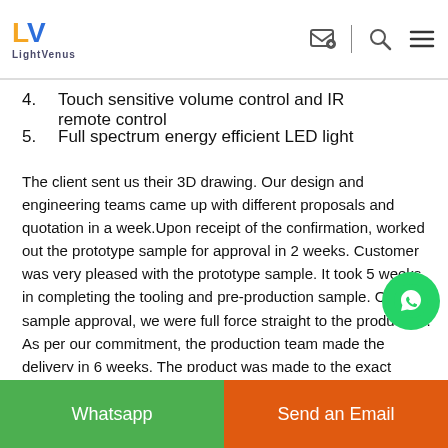LightVenus
4. Touch sensitive volume control and IR remote control
5. Full spectrum energy efficient LED light
The client sent us their 3D drawing. Our design and engineering teams came up with different proposals and quotation in a week.Upon receipt of the confirmation, worked out the prototype sample for approval in 2 weeks. Customer was very pleased with the prototype sample. It took 5 weeks in completing the tooling and pre-production sample. Once sample approval, we were full force straight to the production. As per our commitment, the production team made the delivery in 6 weeks. The product was made to the exact requirements.
Whatsapp | Send an Email